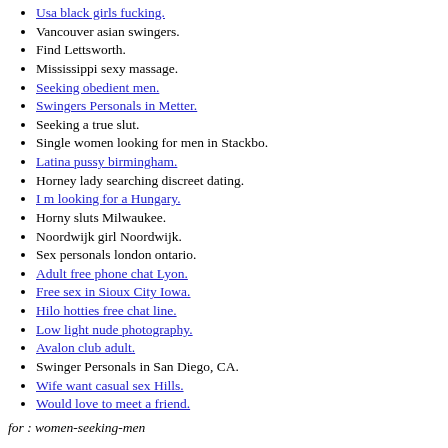Usa black girls fucking.
Vancouver asian swingers.
Find Lettsworth.
Mississippi sexy massage.
Seeking obedient men.
Swingers Personals in Metter.
Seeking a true slut.
Single women looking for men in Stackbo.
Latina pussy birmingham.
Horney lady searching discreet dating.
I m looking for a Hungary.
Horny sluts Milwaukee.
Noordwijk girl Noordwijk.
Sex personals london ontario.
Adult free phone chat Lyon.
Free sex in Sioux City Iowa.
Hilo hotties free chat line.
Low light nude photography.
Avalon club adult.
Swinger Personals in San Diego, CA.
Wife want casual sex Hills.
Would love to meet a friend.
for : women-seeking-men